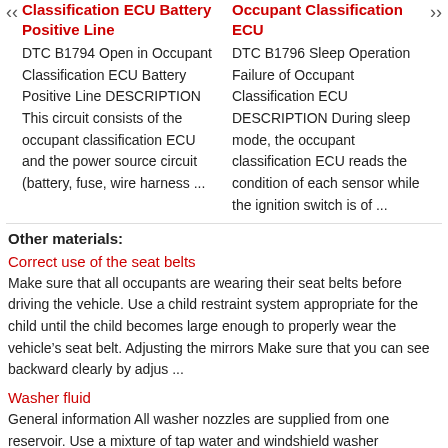Classification ECU Battery Positive Line
Occupant Classification ECU
DTC B1794 Open in Occupant Classification ECU Battery Positive Line DESCRIPTION This circuit consists of the occupant classification ECU and the power source circuit (battery, fuse, wire harness ...
DTC B1796 Sleep Operation Failure of Occupant Classification ECU DESCRIPTION During sleep mode, the occupant classification ECU reads the condition of each sensor while the ignition switch is of ...
Other materials:
Correct use of the seat belts
Make sure that all occupants are wearing their seat belts before driving the vehicle. Use a child restraint system appropriate for the child until the child becomes large enough to properly wear the vehicle’s seat belt. Adjusting the mirrors Make sure that you can see backward clearly by adjus ...
Washer fluid
General information All washer nozzles are supplied from one reservoir. Use a mixture of tap water and windshield washer concentrate. If desired, a windshield washer concentrate containing antifreeze can be used. Recommended minimum fill quantity: 0.2 US gal/1 liter. Safety